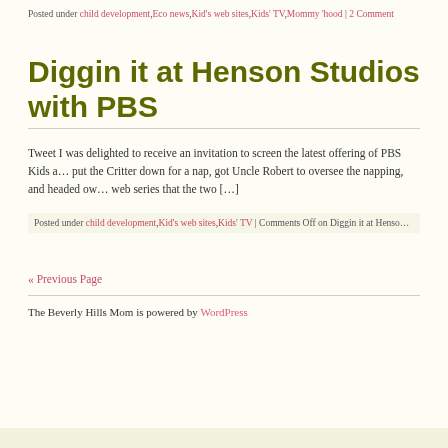Posted under child development,Eco news,Kid's web sites,Kids' TV,Mommy 'hood | 2 Comment
Diggin it at Henson Studios with PBS
Tweet I was delighted to receive an invitation to screen the latest offering of PBS Kids a… put the Critter down for a nap, got Uncle Robert to oversee the napping, and headed ow… web series that the two […]
Posted under child development,Kid's web sites,Kids' TV | Comments Off on Diggin it at Henso…
« Previous Page
The Beverly Hills Mom is powered by WordPress